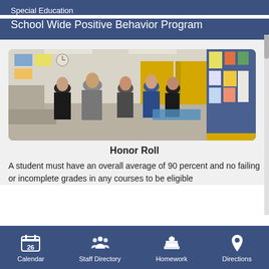Special Education
School Wide Positive Behavior Program
[Figure (photo): Classroom photo showing students walking through a classroom with colorful posters on the walls and yellow doors in the background]
Honor Roll
A student must have an overall average of 90 percent and no failing or incomplete grades in any courses to be eligible for the honor roll. Students for the honor roll...
Calendar  Staff Directory  Homework  Directions